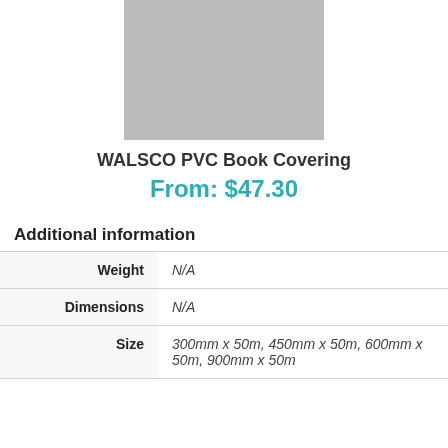[Figure (photo): Product image placeholder — grey rectangle]
WALSCO PVC Book Covering
From: $47.30
Additional information
|  |  |
| --- | --- |
| Weight | N/A |
| Dimensions | N/A |
| Size | 300mm x 50m, 450mm x 50m, 600mm x 50m, 900mm x 50m |